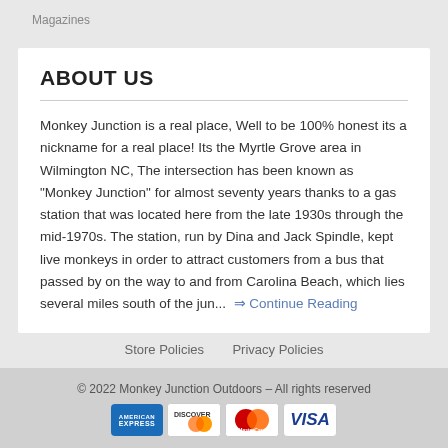Magazines
ABOUT US
Monkey Junction is a real place, Well to be 100% honest its a nickname for a real place! Its the Myrtle Grove area in Wilmington NC, The intersection has been known as "Monkey Junction" for almost seventy years thanks to a gas station that was located here from the late 1930s through the mid-1970s. The station, run by Dina and Jack Spindle, kept live monkeys in order to attract customers from a bus that passed by on the way to and from Carolina Beach, which lies several miles south of the jun...  ⇒ Continue Reading
Store Policies   Privacy Policies
© 2022 Monkey Junction Outdoors – All rights reserved